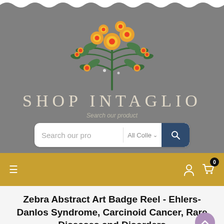[Figure (illustration): Shop Intaglio website screenshot showing floral logo illustration with botanical drawing of flowers and leaves in green and yellow/orange on gray background, shop name 'SHOP INTAGLIO', search bar with 'Search our pro' placeholder and 'All Colle' dropdown, golden navigation bar with hamburger menu and cart icon showing 0 items, and product title text]
SHOP INTAGLIO
Search our product
Zebra Abstract Art Badge Reel - Ehlers-Danlos Syndrome, Carcinoid Cancer, Rare Diseases and Disorders